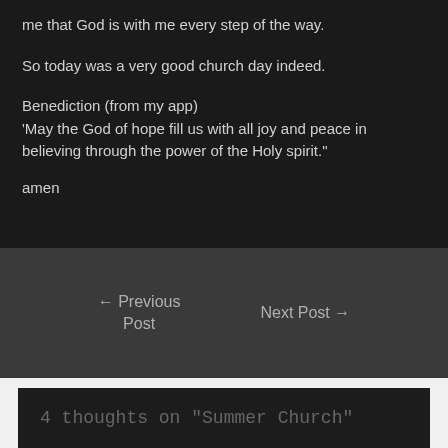me that God is with me every step of the way.
So today was a very good church day indeed.
Benediction (from my app)
‘May the God of hope fill us with all joy and peace in believing through the power of the Holy spirit.”
amen
← Previous Post
Next Post →
4 thoughts on “Summer Church”